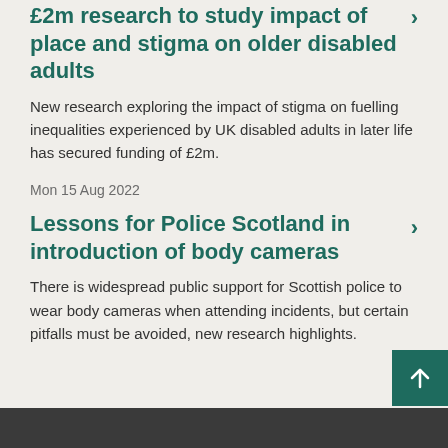£2m research to study impact of place and stigma on older disabled adults >
New research exploring the impact of stigma on fuelling inequalities experienced by UK disabled adults in later life has secured funding of £2m.
Mon 15 Aug 2022
Lessons for Police Scotland in introduction of body cameras >
There is widespread public support for Scottish police to wear body cameras when attending incidents, but certain pitfalls must be avoided, new research highlights.